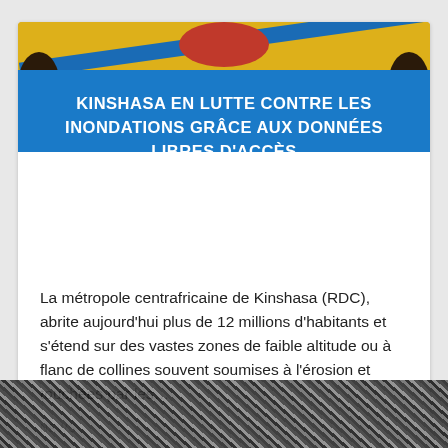[Figure (photo): Photo of people in front of a yellow background with the Democratic Republic of Congo flag, blue stripe visible. Two people partially visible on left and right edges.]
KINSHASA EN LUTTE CONTRE LES INONDATIONS GRÂCE AUX DONNÉES LIBRES D'ACCÈS
La métropole centrafricaine de Kinshasa (RDC), abrite aujourd'hui plus de 12 millions d'habitants et s'étend sur des vastes zones de faible altitude ou à flanc de collines souvent soumises à l'érosion et touchées par les…
NEWS
[Figure (photo): Partial black and white photo visible at bottom of page, appears to show trees or outdoor scene.]